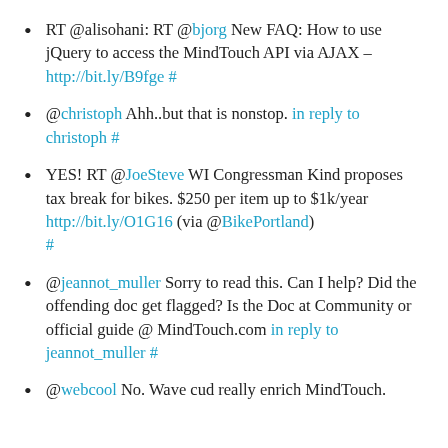RT @alisohani: RT @bjorg New FAQ: How to use jQuery to access the MindTouch API via AJAX – http://bit.ly/B9fge #
@christoph Ahh..but that is nonstop. in reply to christoph #
YES! RT @JoeSteve WI Congressman Kind proposes tax break for bikes. $250 per item up to $1k/year http://bit.ly/O1G16 (via @BikePortland) #
@jeannot_muller Sorry to read this. Can I help? Did the offending doc get flagged? Is the Doc at Community or official guide @ MindTouch.com in reply to jeannot_muller #
@webcool No. Wave cud really enrich MindTouch.